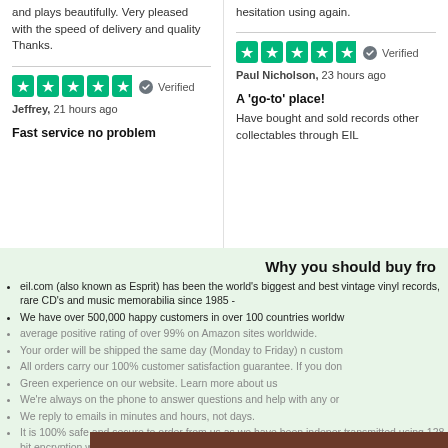and plays beautifully. Very pleased with the speed of delivery and quality Thanks.
[Figure (other): Five green Trustpilot stars with Verified badge - left column]
Jeffrey, 21 hours ago
Fast service no problem
hesitation using again.
[Figure (other): Five green Trustpilot stars with Verified badge - right column]
Paul Nicholson, 23 hours ago
A 'go-to' place!
Have bought and sold records other collectables through EIL
Why you should buy fro
eil.com (also known as Esprit) has been the world's biggest and best vintage vinyl records, rare CD's and music memorabilia since 1985 -
We have over 500,000 happy customers in over 100 countries worldw
average positive rating of over 99% on Amazon sites worldwide.
Your order will be shipped the same day (Monday to Friday) n custom
All orders carry our 100% customer satisfaction guarantee. If you don
Green experience on our website. Learn more about us
We're always on the phone to answer questions and help with any or
We reply to emails in minutes and hours, not days.
It is 100% safe and secure to order from us as we have been indeper transmitted using 128 bit encryption with 'Extended Validation SSL' ac using the strictest authentication standard. See the padlock symbol s
This website uses cookies to ensure you get the best experience on our website. Learn more
Got it!